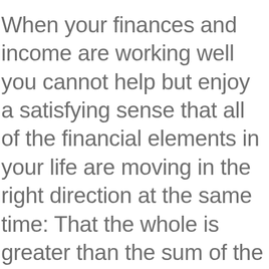When your finances and income are working well you cannot help but enjoy a satisfying sense that all of the financial elements in your life are moving in the right direction at the same time: That the whole is greater than the sum of the parts. Let a Tradewell Adviser take the pressure away from you in managing your assets, estate and tax matters.  We are the only firm in